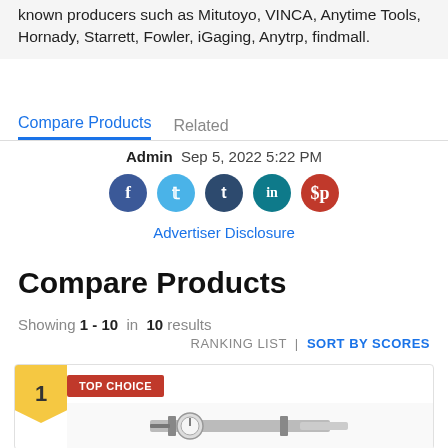known producers such as Mitutoyo, VINCA, Anytime Tools, Hornady, Starrett, Fowler, iGaging, Anytrp, findmall.
Compare Products   Related
Admin  Sep 5, 2022 5:22 PM
[Figure (infographic): Row of five social media icons: Facebook (blue), Twitter (light blue), Tumblr (dark navy), LinkedIn (teal), Pinterest (red)]
Advertiser Disclosure
Compare Products
Showing 1 - 10 in 10 results
RANKING LIST  |  SORT BY SCORES
[Figure (photo): Product card showing rank 1 badge (gold), TOP CHOICE label (red), and a dial caliper product image]